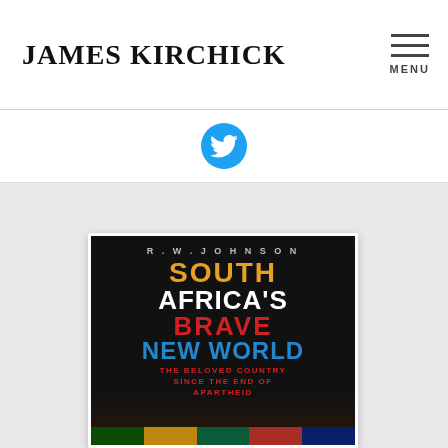JAMES KIRCHICK
[Figure (logo): Twitter bird icon in blue circle]
[Figure (photo): Book cover of 'South Africa's Brave New World: The Beloved Country Since the End of Apartheid' by R.W. Johnson, with colorful text on black background]